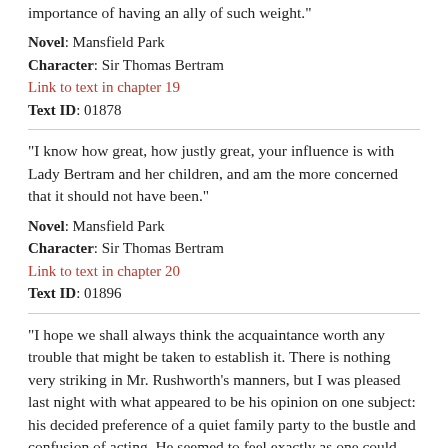importance of having an ally of such weight."
Novel: Mansfield Park
Character: Sir Thomas Bertram
Link to text in chapter 19
Text ID: 01878
"I know how great, how justly great, your influence is with Lady Bertram and her children, and am the more concerned that it should not have been."
Novel: Mansfield Park
Character: Sir Thomas Bertram
Link to text in chapter 20
Text ID: 01896
"I hope we shall always think the acquaintance worth any trouble that might be taken to establish it. There is nothing very striking in Mr. Rushworth's manners, but I was pleased last night with what appeared to be his opinion on one subject: his decided preference of a quiet family party to the bustle and confusion of acting. He seemed to feel exactly as one could wish."
Novel: Mansfield Park